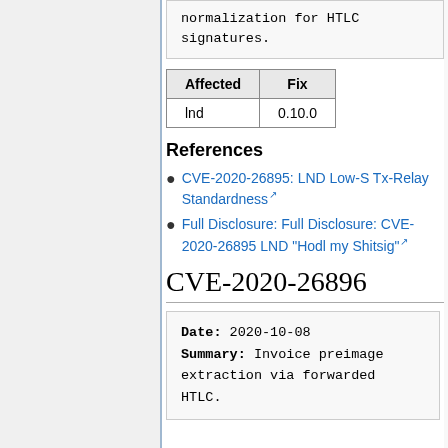normalization for HTLC signatures.
| Affected | Fix |
| --- | --- |
| lnd | 0.10.0 |
References
CVE-2020-26895: LND Low-S Tx-Relay Standardness
Full Disclosure: Full Disclosure: CVE-2020-26895 LND "Hodl my Shitsig"
CVE-2020-26896
Date: 2020-10-08
Summary: Invoice preimage extraction via forwarded HTLC.